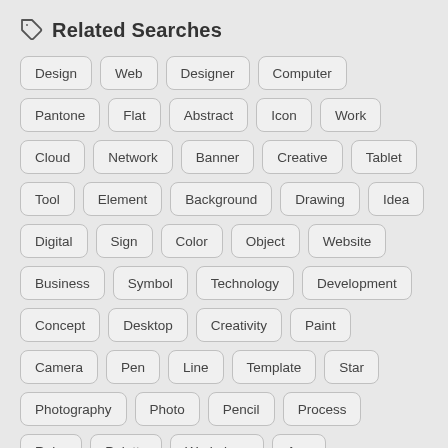Related Searches
Design
Web
Designer
Computer
Pantone
Flat
Abstract
Icon
Work
Cloud
Network
Banner
Creative
Tablet
Tool
Element
Background
Drawing
Idea
Digital
Sign
Color
Object
Website
Business
Symbol
Technology
Development
Concept
Desktop
Creativity
Paint
Camera
Pen
Line
Template
Star
Photography
Photo
Pencil
Process
Ruler
Palette
Workplace
App